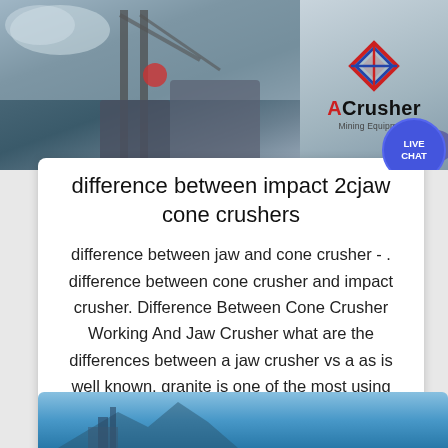[Figure (photo): Top image of industrial crusher machinery with ACrusher Mining Equipment logo on the right side]
difference between impact 2cjaw cone crushers
difference between jaw and cone crusher - . difference between cone crusher and impact crusher. Difference Between Cone Crusher Working And Jaw Crusher what are the differences between a jaw crusher vs a as is well known, granite is one of the most using stone in aggregate crushing plant and artificial sand making line a cone crusher and jaw crusher the difference between jaw crusher .
[Figure (infographic): Live Chat button/bubble overlay in top right corner]
view more
[Figure (photo): Bottom strip showing blue sky with mining/crushing equipment]